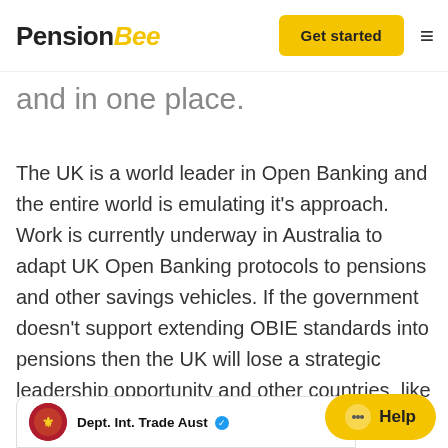PensionBee | Get started
and in one place.
The UK is a world leader in Open Banking and the entire world is emulating it's approach. Work is currently underway in Australia to adapt UK Open Banking protocols to pensions and other savings vehicles. If the government doesn't support extending OBIE standards into pensions then the UK will lose a strategic leadership opportunity and other countries, like Australia, will reap all the economic benefit that should belong to the UK.
[Figure (screenshot): Partial Twitter card showing Dept. Int. Trade Aust with verified badge and a red circular avatar with a coat of arms logo]